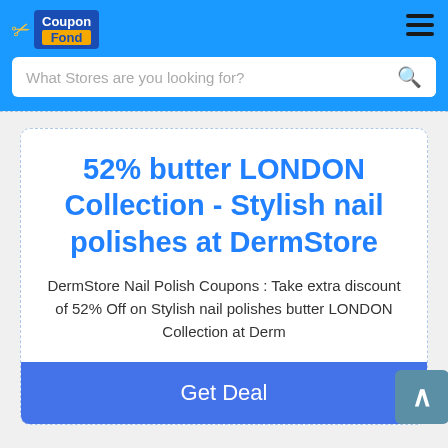CouponFond
What Stores are you looking for?
52% butter LONDON Collection - Stylish nail polishes at DermStore
DermStore Nail Polish Coupons : Take extra discount of 52% Off on Stylish nail polishes butter LONDON Collection at Derm
Get Deal